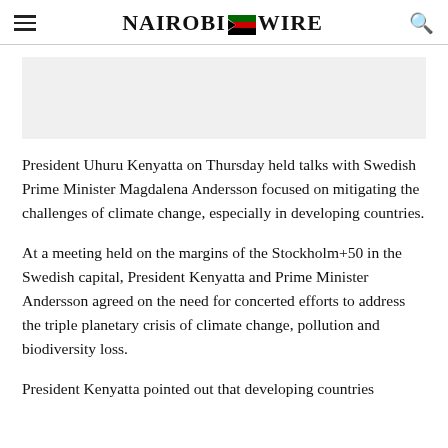Nairobi Wire
President Uhuru Kenyatta on Thursday held talks with Swedish Prime Minister Magdalena Andersson focused on mitigating the challenges of climate change, especially in developing countries.
At a meeting held on the margins of the Stockholm+50 in the Swedish capital, President Kenyatta and Prime Minister Andersson agreed on the need for concerted efforts to address the triple planetary crisis of climate change, pollution and biodiversity loss.
President Kenyatta pointed out that developing countries